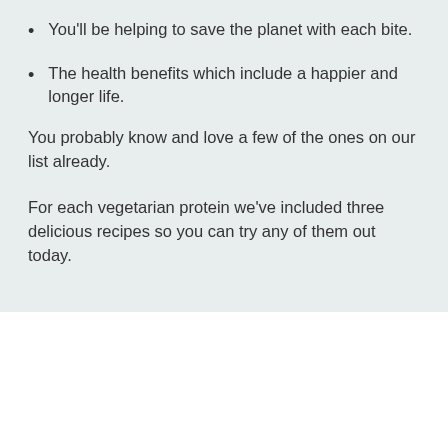You'll be helping to save the planet with each bite.
The health benefits which include a happier and longer life.
You probably know and love a few of the ones on our list already.
For each vegetarian protein we've included three delicious recipes so you can try any of them out today.